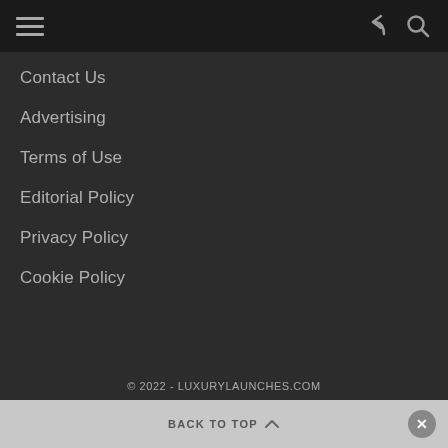Navigation menu header with hamburger icon, share icon, and search icon
Contact Us
Advertising
Terms of Use
Editorial Policy
Privacy Policy
Cookie Policy
© 2022 - LUXURYLAUNCHES.COM
BACK TO TOP